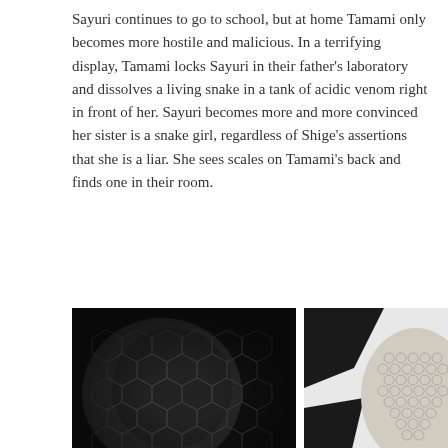Sayuri continues to go to school, but at home Tamami only becomes more hostile and malicious. In a terrifying display, Tamami locks Sayuri in their father's laboratory and dissolves a living snake in a tank of acidic venom right in front of her. Sayuri becomes more and more convinced her sister is a snake girl, regardless of Shige's assertions that she is a liar. She sees scales on Tamami's back and finds one in their room.
[Figure (photo): Black and white close-up photograph of snake scales (Tamami's back), with caption 'Tamami's back' in white text at bottom left]
[Figure (illustration): Black and white manga illustration showing the snake woman's back with scale pattern, with caption 'The snake woman's back' in white text at bottom left]
[Figure (photo): Black and white close-up photograph of a textured scale pattern, partially visible at the bottom of the page]